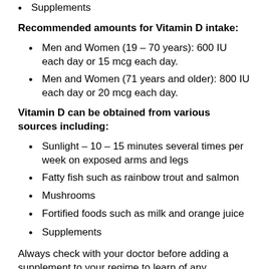Supplements
Recommended amounts for Vitamin D intake:
Men and Women (19 – 70 years): 600 IU each day or 15 mcg each day.
Men and Women (71 years and older): 800 IU each day or 20 mcg each day.
Vitamin D can be obtained from various sources including:
Sunlight – 10 – 15 minutes several times per week on exposed arms and legs
Fatty fish such as rainbow trout and salmon
Mushrooms
Fortified foods such as milk and orange juice
Supplements
Always check with your doctor before adding a supplement to your regime to learn of any